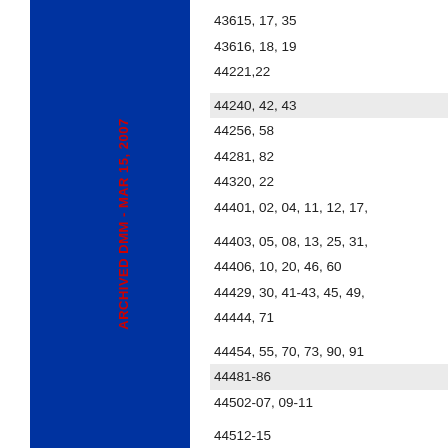[Figure (other): Solid dark blue vertical bar spanning the left portion of the page]
ARCHIVED DMM - MAR 15, 2007
43615, 17, 35
43616, 18, 19
44221,22
44240, 42, 43
44256, 58
44281, 82
44320, 22
44401, 02, 04, 11, 12, 17,
44403, 05, 08, 13, 25, 31,
44406, 10, 20, 46, 60
44429, 30, 41-43, 45, 49,
44444, 71
44454, 55, 70, 73, 90, 91
44481-86
44502-07, 09-11
44512-15
44646-48
44621, 83